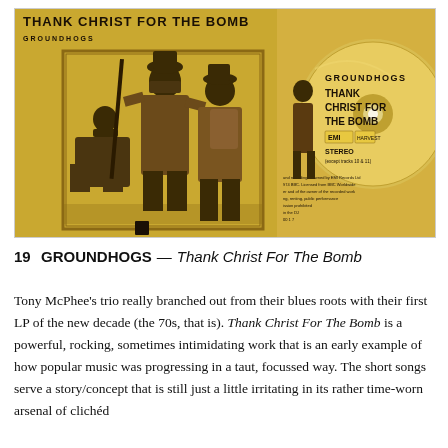[Figure (photo): Album cover and CD of Groundhogs 'Thank Christ For The Bomb'. Left side shows the original LP cover with gold/yellow background, three soldiers in military gear, and the text 'THANK CHRIST FOR THE BOMB' at top and 'GROUNDHOGS' below. Right side shows the CD with gold label reading 'GROUNDHOGS THANK CHRIST FOR THE BOMB' with EMI logo and STEREO text.]
19 GROUNDHOGS—Thank Christ For The Bomb
Tony McPhee's trio really branched out from their blues roots with their first LP of the new decade (the 70s, that is). Thank Christ For The Bomb is a powerful, rocking, sometimes intimidating work that is an early example of how popular music was progressing in a taut, focussed way. The short songs serve a story/concept that is still just a little irritating in its rather time-worn arsenal of clichéd...